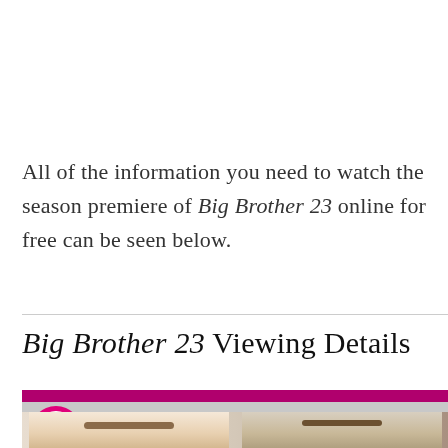All of the information you need to watch the season premiere of Big Brother 23 online for free can be seen below.
Big Brother 23 Viewing Details
[Figure (screenshot): Video embed from Us Weekly showing 'Big Brother 23 Cast Reveal Their Strategies To W...' with Us Weekly logo and two people's faces partially visible]